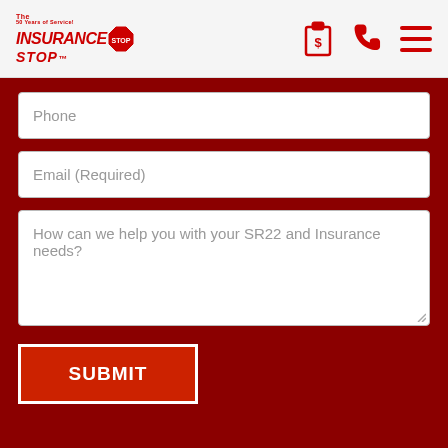The Insurance Stop — 50 Years of Service! Logo with stop sign octagon, clipboard/quote icon, phone icon, menu icon
Phone
Email (Required)
How can we help you with your SR22 and Insurance needs?
SUBMIT
© 2018-2022 The Insurance Stops. All Rights Reserved. Terms and